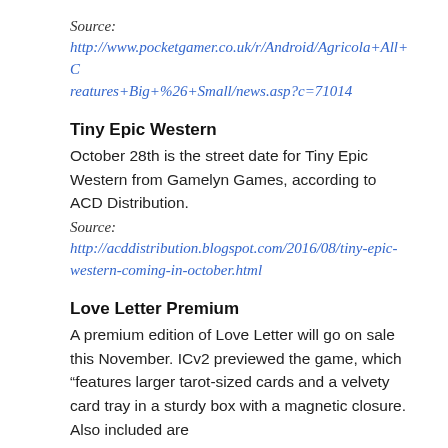Source:
http://www.pocketgamer.co.uk/r/Android/Agricola+All+Creatures+Big+%26+Small/news.asp?c=71014
Tiny Epic Western
October 28th is the street date for Tiny Epic Western from Gamelyn Games, according to ACD Distribution.
Source:
http://acddistribution.blogspot.com/2016/08/tiny-epic-western-coming-in-october.html
Love Letter Premium
A premium edition of Love Letter will go on sale this November. ICv2 previewed the game, which “features larger tarot-sized cards and a velvety card tray in a sturdy box with a magnetic closure. Also included are